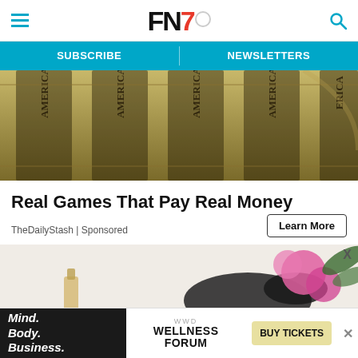FN7 — hamburger menu, logo, search icon
SUBSCRIBE | NEWSLETTERS
[Figure (photo): Close-up of US dollar bill columns showing 'AMERICA' text in sepia/green tones]
Real Games That Pay Real Money
TheDailyStash | Sponsored
Learn More
[Figure (photo): Flat lay photo with black lingerie, perfume bottle, pink flowers, and green leaves on light background]
X
[Figure (infographic): WWD Wellness Forum advertisement banner with Mind. Body. Business. text on black background, WELLNESS FORUM text, and BUY TICKETS button]